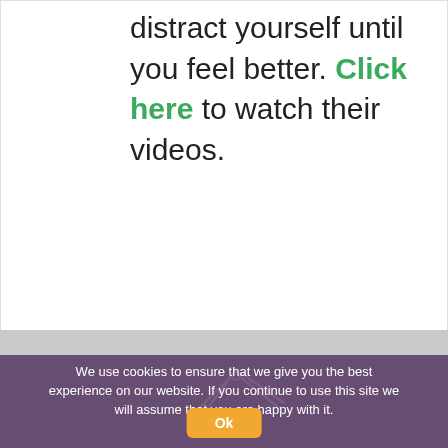distract yourself until you feel better. Click here to watch their videos.
[Figure (illustration): Dark purple/navy background section with scissors icon line art visible at top]
We use cookies to ensure that we give you the best experience on our website. If you continue to use this site we will assume that you are happy with it.